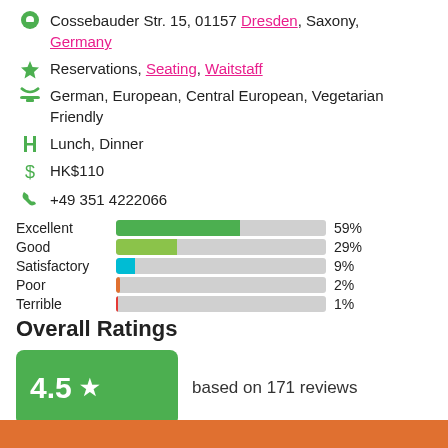Cossebauder Str. 15, 01157 Dresden, Saxony, Germany
Reservations, Seating, Waitstaff
German, European, Central European, Vegetarian Friendly
Lunch, Dinner
HK$110
+49 351 4222066
[Figure (bar-chart): Rating distribution]
Overall Ratings
4.5 ★ based on 171 reviews